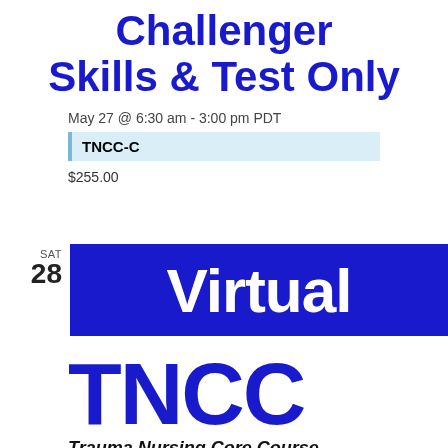Challenger Skills & Test Only
May 27 @ 6:30 am - 3:00 pm PDT
TNCC-C
$255.00
SAT 28
[Figure (other): Blue banner with large white bold text reading 'Virtual']
[Figure (logo): Large bold blue text 'TNCC' followed by italic text 'Trauma Nursing Core Course']